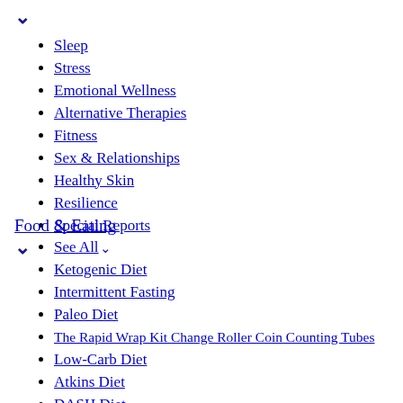Sleep
Stress
Emotional Wellness
Alternative Therapies
Fitness
Sex & Relationships
Healthy Skin
Resilience
Special Reports
See All
Food & Eating
Ketogenic Diet
Intermittent Fasting
Paleo Diet
The Rapid Wrap Kit Change Roller Coin Counting Tubes
Low-Carb Diet
Atkins Diet
DASH Diet
MIND Diet
See All